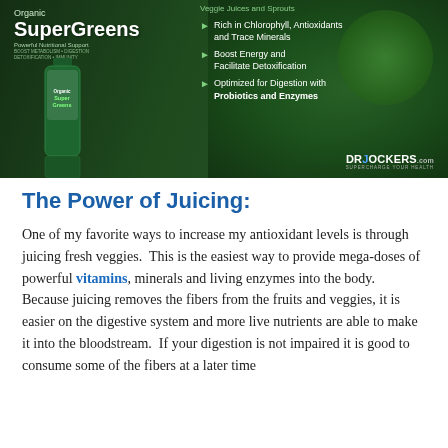[Figure (photo): Organic SuperGreens product image with bullet points listing benefits: Veggie Juices and Sprouts, Rich in Chlorophyll, Antioxidants and Trace Minerals, Boost Energy and Facilitate Detoxification, Optimized for Digestion with Probiotics and Enzymes. DrJockers.com logo in bottom right.]
The Power of Juicing:
One of my favorite ways to increase my antioxidant levels is through juicing fresh veggies.  This is the easiest way to provide mega-doses of powerful vitamins, minerals and living enzymes into the body.  Because juicing removes the fibers from the fruits and veggies, it is easier on the digestive system and more live nutrients are able to make it into the bloodstream.  If your digestion is not impaired it is good to consume some of the fibers at a later time